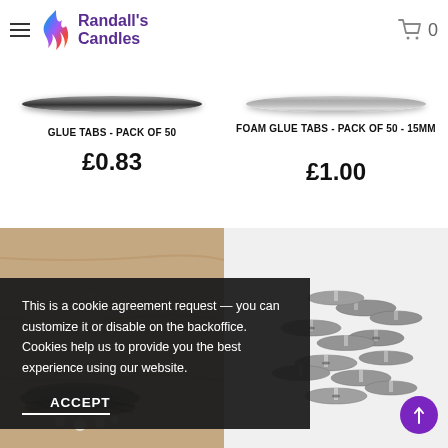Randall's Candles — navigation header with logo, hamburger menu, and cart icon showing 0 items
[Figure (photo): Product image strip: left side shows a flat black glue tab bar; right side shows a shimmery foam glue tab strip]
GLUE TABS - PACK OF 50
£0.83
FOAM GLUE TABS - PACK OF 50 - 15mm
£1.00
[Figure (photo): Bottom left: coiled wicks on wooden background. Bottom right: pile of metal wick tabs/sustainer tabs.]
This is a cookie agreement request — you can customize it or disable on the backoffice. Cookies help us to provide you the best experience using our website.
ACCEPT